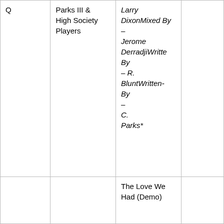| Q | Parks III &
High Society
Players | Larry
DixonMixed By
–
Jerome
DerradjiWritten By
– R. BluntWritten-By
–
C. Parks* |  |
|  |  | The Love We Had (Demo) |  |